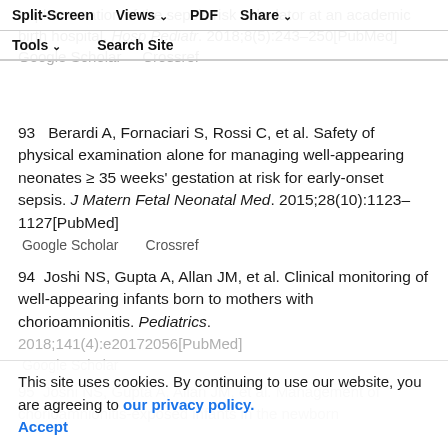Split-Screen  Views  PDF  Share  Tools  Search Site
Implementation of the sepsis risk calculator at an academic birth hospital. Hosp Pediatr. 2018;8(5):243–250[PubMed]  Google Scholar  Crossref
93  Berardi A, Fornaciari S, Rossi C, et al. Safety of physical examination alone for managing well-appearing neonates ≥ 35 weeks' gestation at risk for early-onset sepsis. J Matern Fetal Neonatal Med. 2015;28(10):1123–1127[PubMed]  Google Scholar  Crossref
94  Joshi NS, Gupta A, Allan JM, et al. Clinical monitoring of well-appearing infants born to mothers with chorioamnionitis. Pediatrics. 2018;141(4):e20172056[PubMed]  Google Scholar
95  Joshi NS, Gupta A, Allan JM, et al. Management of chorioamnionitis-exposed infants in the newborn
This site uses cookies. By continuing to use our website, you are agreeing to our privacy policy. Accept